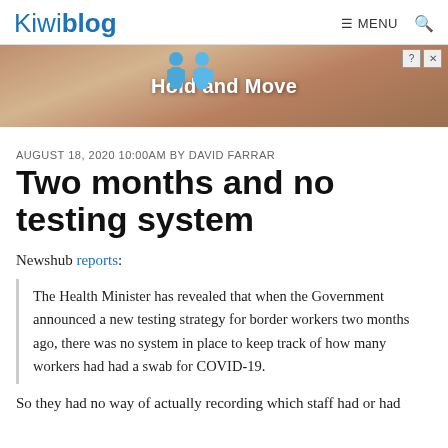Kiwiblog | MENU [search]
[Figure (screenshot): Advertisement banner showing 'Hold and Move' with blue background and stylized figures]
AUGUST 18, 2020 10:00AM BY DAVID FARRAR
Two months and no testing system
Newshub reports:
The Health Minister has revealed that when the Government announced a new testing strategy for border workers two months ago, there was no system in place to keep track of how many workers had had a swab for COVID-19.
So they had no way of actually recording which staff had or had